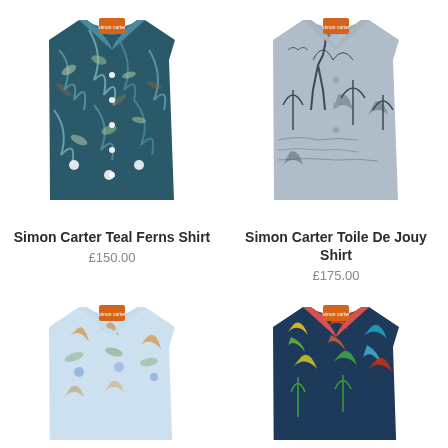[Figure (photo): Simon Carter Teal Ferns Shirt - folded shirt with dark teal floral/fern print and orange label]
[Figure (photo): Simon Carter Toile De Jouy Shirt - folded grey shirt with toile de jouy scenic print and orange label]
Simon Carter Teal Ferns Shirt
£150.00
Simon Carter Toile De Jouy Shirt
£175.00
[Figure (photo): Folded light blue shirt with floral/bird print and orange label - partially visible]
[Figure (photo): Folded dark navy shirt with colourful bird/parrot print and orange label - partially visible]